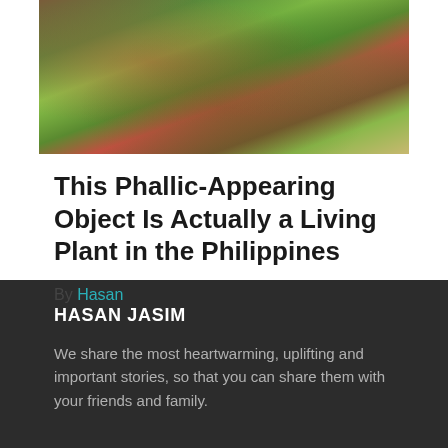[Figure (photo): Close-up photo of plant leaves with reddish-pink and green coloring, appearing to show pitchers or unusual plant structures]
This Phallic-Appearing Object Is Actually a Living Plant in the Philippines
By Hasan
HASAN JASIM
We share the most heartwarming, uplifting and important stories, so that you can share them with your friends and family.